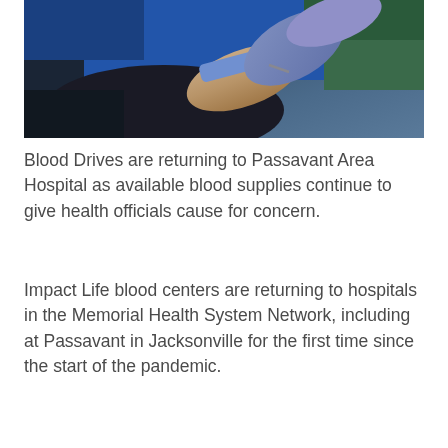[Figure (photo): Close-up photo of a medical professional wearing blue gloves drawing blood or inserting an IV needle into a patient's arm, with a blue tourniquet or bandage visible. The patient is wearing a dark sleeve and is seated on a blue surface.]
Blood Drives are returning to Passavant Area Hospital as available blood supplies continue to give health officials cause for concern.
Impact Life blood centers are returning to hospitals in the Memorial Health System Network, including at Passavant in Jacksonville for the first time since the start of the pandemic.